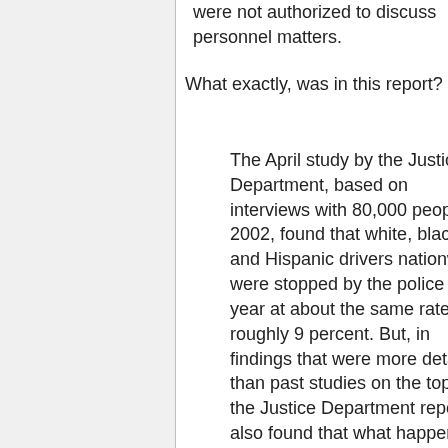were not authorized to discuss personnel matters.
What exactly, was in this report?
The April study by the Justice Department, based on interviews with 80,000 people in 2002, found that white, black and Hispanic drivers nationwide were stopped by the police that year at about the same rate, roughly 9 percent. But, in findings that were more detailed than past studies on the topic, the Justice Department report also found that what happened once the police made a stop differed markedly depending on race and